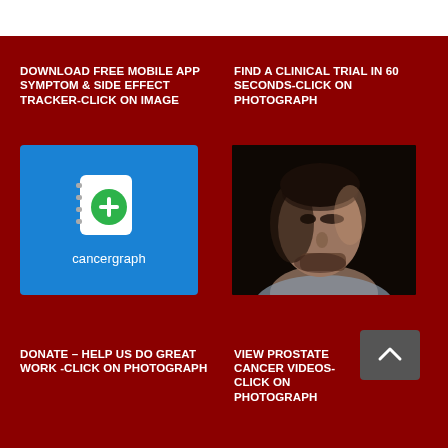DOWNLOAD FREE MOBILE APP SYMPTOM & SIDE EFFECT TRACKER-CLICK ON IMAGE
FIND A CLINICAL TRIAL IN 60 SECONDS-CLICK ON PHOTOGRAPH
[Figure (screenshot): Cancergraph mobile app icon on blue background with green plus sign and text 'cancergraph']
[Figure (photo): Close-up portrait of a middle-aged man in dim lighting, looking slightly to the side]
DONATE – HELP US DO GREAT WORK -CLICK ON PHOTOGRAPH
VIEW PROSTATE CANCER VIDEOS-CLICK ON PHOTOGRAPH